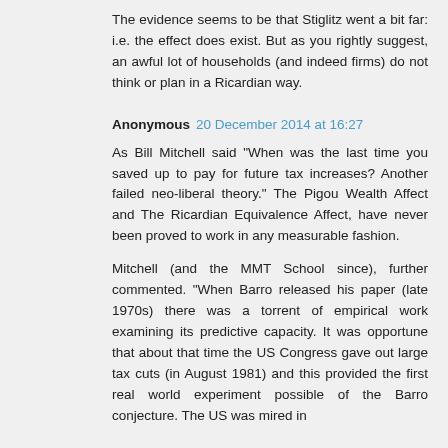The evidence seems to be that Stiglitz went a bit far: i.e. the effect does exist. But as you rightly suggest, an awful lot of households (and indeed firms) do not think or plan in a Ricardian way.
Anonymous 20 December 2014 at 16:27
As Bill Mitchell said "When was the last time you saved up to pay for future tax increases? Another failed neo-liberal theory." The Pigou Wealth Affect and The Ricardian Equivalence Affect, have never been proved to work in any measurable fashion.
Mitchell (and the MMT School since), further commented. "When Barro released his paper (late 1970s) there was a torrent of empirical work examining its predictive capacity. It was opportune that about that time the US Congress gave out large tax cuts (in August 1981) and this provided the first real world experiment possible of the Barro conjecture. The US was mired in